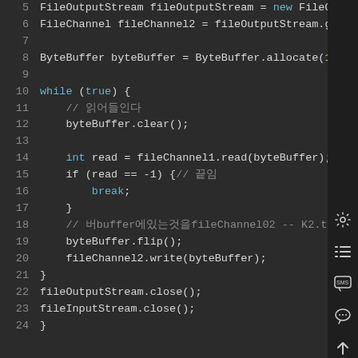[Figure (screenshot): Code editor screenshot showing Java NIO file copy code, lines 5-24, dark theme with cyan keywords and gray line numbers]